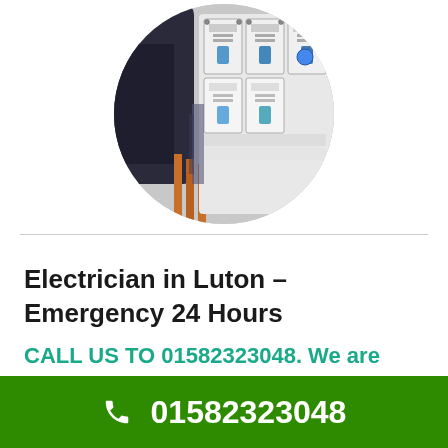[Figure (photo): Circular cropped photo of an electrician's hands working on an electrical circuit breaker panel with Legrand/Hager branded components]
Electrician in Luton – Emergency 24 Hours
CALL US TO 01582323048. We are available 24 hours including holidays!
📞 01582323048